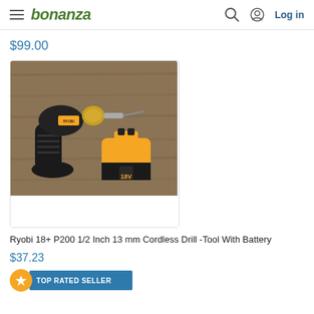bonanza  Log in
$99.00
[Figure (photo): Photo of a black Ryobi 18V cordless drill and a yellow/black 18V battery pack, placed on a wooden surface]
Ryobi 18+ P200 1/2 Inch 13 mm Cordless Drill -Tool With Battery
$37.23
TOP RATED SELLER